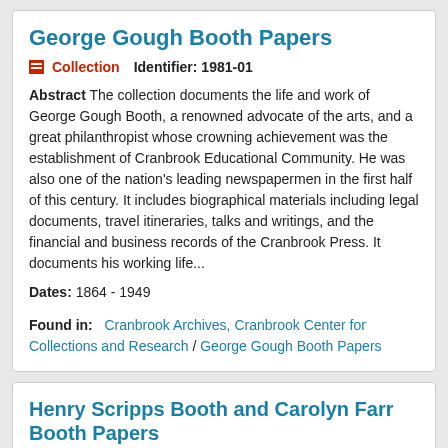George Gough Booth Papers
Collection   Identifier: 1981-01
Abstract The collection documents the life and work of George Gough Booth, a renowned advocate of the arts, and a great philanthropist whose crowning achievement was the establishment of Cranbrook Educational Community. He was also one of the nation's leading newspapermen in the first half of this century. It includes biographical materials including legal documents, travel itineraries, talks and writings, and the financial and business records of the Cranbrook Press. It documents his working life...
Dates: 1864 - 1949
Found in: Cranbrook Archives, Cranbrook Center for Collections and Research / George Gough Booth Papers
Henry Scripps Booth and Carolyn Farr Booth Papers
Collection   Identifier: 1981-17